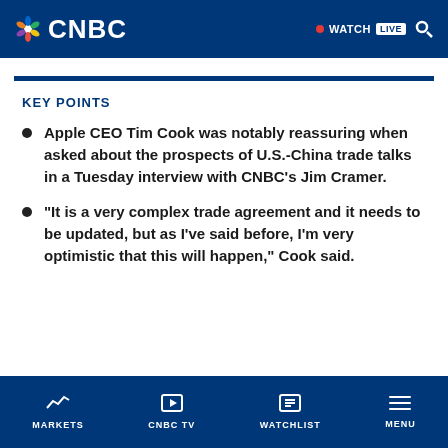CNBC
KEY POINTS
Apple CEO Tim Cook was notably reassuring when asked about the prospects of U.S.-China trade talks in a Tuesday interview with CNBC's Jim Cramer.
“It is a very complex trade agreement and it needs to be updated, but as I’ve said before, I’m very optimistic that this will happen,” Cook said.
MARKETS | CNBC TV | WATCHLIST | MENU